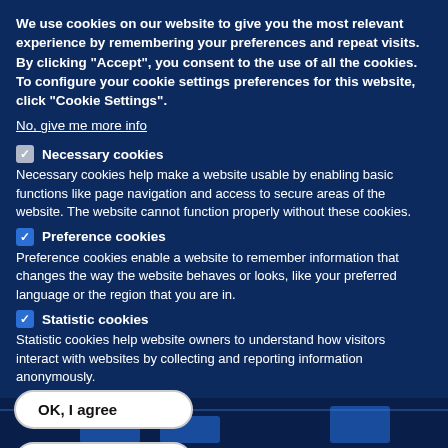We use cookies on our website to give you the most relevant experience by remembering your preferences and repeat visits. By clicking "Accept", you consent to the use of all the cookies. To configure your cookie settings preferences for this website, click "Cookie Settings".
No, give me more info
Necessary cookies
Necessary cookies help make a website usable by enabling basic functions like page navigation and access to secure areas of the website. The website cannot function properly without these cookies.
Preference cookies
Preference cookies enable a website to remember information that changes the way the website behaves or looks, like your preferred language or the region that you are in.
Statistic cookies
Statistic cookies help website owners to understand how visitors interact with websites by collecting and reporting information anonymously.
OK, I agree
Housing Construction and Population Change
Accept all cookies